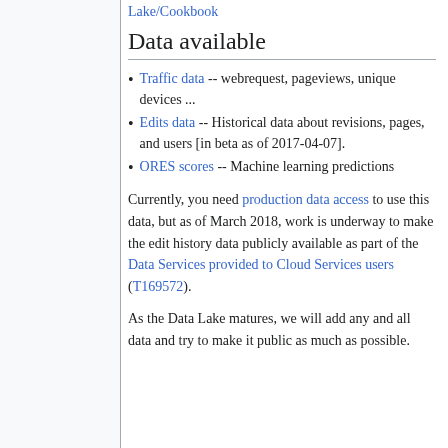Lake/Cookbook
Data available
Traffic data -- webrequest, pageviews, unique devices ...
Edits data -- Historical data about revisions, pages, and users [in beta as of 2017-04-07].
ORES scores -- Machine learning predictions
Currently, you need production data access to use this data, but as of March 2018, work is underway to make the edit history data publicly available as part of the Data Services provided to Cloud Services users (T169572).
As the Data Lake matures, we will add any and all data and try to make it public as much as possible.